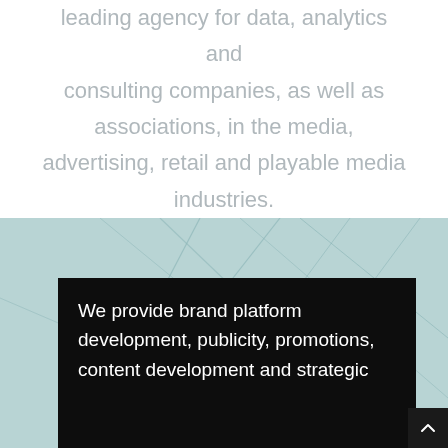leading agency for data, analytics and consulting companies, as well as associations, in the media, advertising, retail and playable media industries.
[Figure (illustration): Light teal/blue abstract background with thin diagonal geometric lines, with a black box overlay at the bottom containing white text: 'We provide brand platform development, publicity, promotions, content development and strategic']
We provide brand platform development, publicity, promotions, content development and strategic